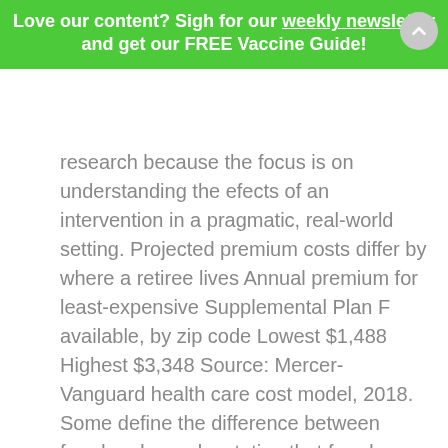Love our content? Sigh for our weekly newsletter and get our FREE Vaccine Guide!
research because the focus is on understanding the efects of an intervention in a pragmatic, real-world setting. Projected premium costs differ by where a retiree lives Annual premium for least-expensive Supplemental Plan F available, by zip code Lowest $1,488 Highest $3,348 Source: Mercer-Vanguard health care cost model, 2018. Some define the difference between fraud and error by stating that fraud entails a deliberate intention to cheat and deceive. Then, we have the following r×c contingency table: y1 y2 ⋯ yc x1 n11